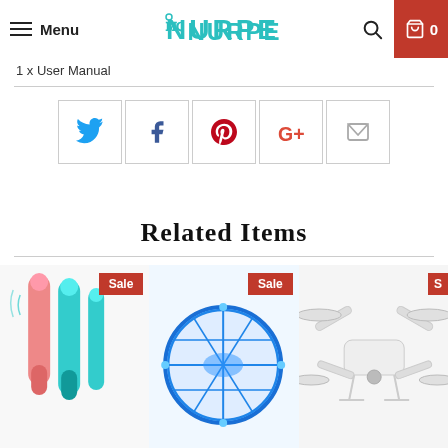Menu | NURPE | Search | Cart 0
1 x User Manual
[Figure (infographic): Social sharing buttons row: Twitter, Facebook, Pinterest, Google+, Email]
Related Items
[Figure (photo): Three product cards showing: electric tooth cleaning tools with Sale badge, blue LED UFO spinner toy with Sale badge, white quadcopter drone with partial Sale badge]